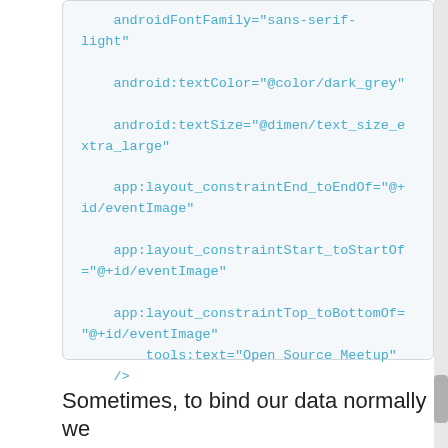androidFontFamily="sans-serif-light"

    android:textColor="@color/dark_grey"

    android:textSize="@dimen/text_size_extra_large"

    app:layout_constraintEnd_toEndOf="@+id/eventImage"

    app:layout_constraintStart_toStartOf="@+id/eventImage"

    app:layout_constraintTop_toBottomOf="@+id/eventImage"
        tools:text="Open Source Meetup"
    />
Sometimes, to bind our data normally we